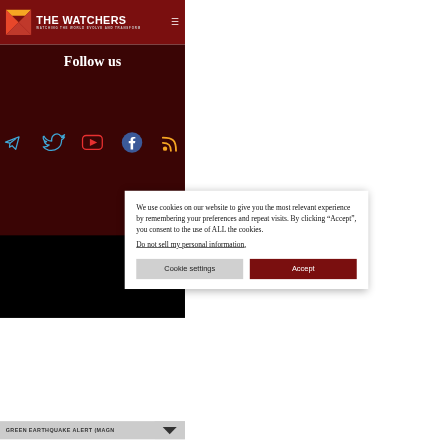THE WATCHERS — WATCHING THE WORLD EVOLVE AND TRANSFORM
Follow us
[Figure (illustration): Social media icons: Telegram (blue), Twitter (blue), YouTube (red), Facebook (blue), RSS (orange)]
We use cookies on our website to give you the most relevant experience by remembering your preferences and repeat visits. By clicking “Accept”, you consent to the use of ALL the cookies.
Do not sell my personal information.
The Watchers
Except where otherwise noted, content on this site is licensed under a Creative
GREEN EARTHQUAKE ALERT (MAGN